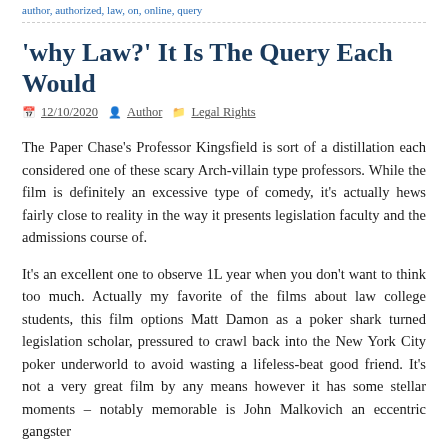author, authorized, law, on, online, query
'why Law?' It Is The Query Each Would
12/10/2020   Author   Legal Rights
The Paper Chase's Professor Kingsfield is sort of a distillation each considered one of these scary Arch-villain type professors. While the film is definitely an excessive type of comedy, it's actually hews fairly close to reality in the way it presents legislation faculty and the admissions course of.
It's an excellent one to observe 1L year when you don't want to think too much. Actually my favorite of the films about law college students, this film options Matt Damon as a poker shark turned legislation scholar, pressured to crawl back into the New York City poker underworld to avoid wasting a lifeless-beat good friend. It's not a very great film by any means however it has some stellar moments – notably memorable is John Malkovich an eccentric gangster Teddy KGB raising affirmative that uh hey and the film